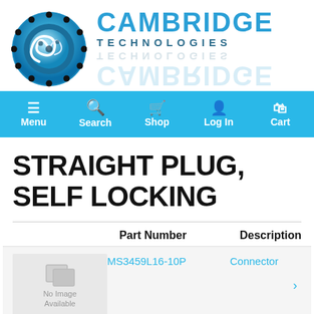[Figure (logo): Cambridge Technologies logo with circular gear/spiral emblem and text CAMBRIDGE TECHNOLOGIES]
Menu | Search | Shop | Log In | Cart
STRAIGHT PLUG, SELF LOCKING
|  | Part Number | Description |
| --- | --- | --- |
| No Image Available | MS3459L16-10P | Connector |